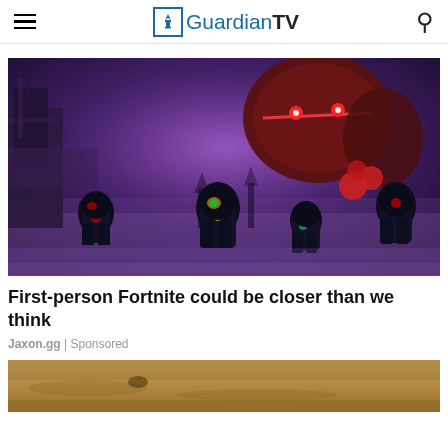GuardianTV
[Figure (screenshot): Fortnite game screenshot showing multiple dark armored characters in a purple/blue atmospheric scene with a large monster figure in the background]
First-person Fortnite could be closer than we think
Jaxon.gg | Sponsored
[Figure (photo): Partial view of a second article image showing a brown/sandy outdoor scene]